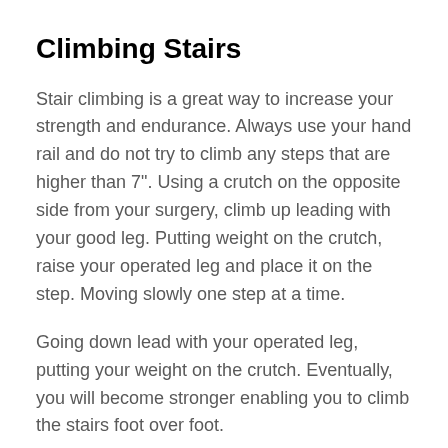Climbing Stairs
Stair climbing is a great way to increase your strength and endurance. Always use your hand rail and do not try to climb any steps that are higher than 7". Using a crutch on the opposite side from your surgery, climb up leading with your good leg. Putting weight on the crutch, raise your operated leg and place it on the step. Moving slowly one step at a time.
Going down lead with your operated leg, putting your weight on the crutch. Eventually, you will become stronger enabling you to climb the stairs foot over foot.
Early Post-op exercises